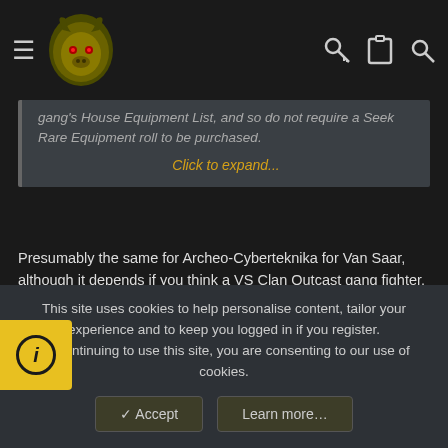Navigation bar with hamburger menu, logo, key icon, clipboard icon, search icon
gang's House Equipment List, and so do not require a Seek Rare Equipment roll to be purchased.
Click to expand...
Presumably the same for Archeo-Cyberteknika for Van Saar, although it depends if you think a VS Clan Outcast gang fighter, who is considered to be in a Van Saar gang for campaign purposes, is also a "Van Saar fighter" - which is something I think would be hard to argue against, especially based on the precedent of Cawdor - "any Cawdor gang" is composed of "Cawdor fighter":
USING ARCHAEO-CYBERTEKNIKA
This site uses cookies to help personalise content, tailor your experience and to keep you logged in if you register.
By continuing to use this site, you are consenting to our use of cookies.
✓ Accept
Learn more…